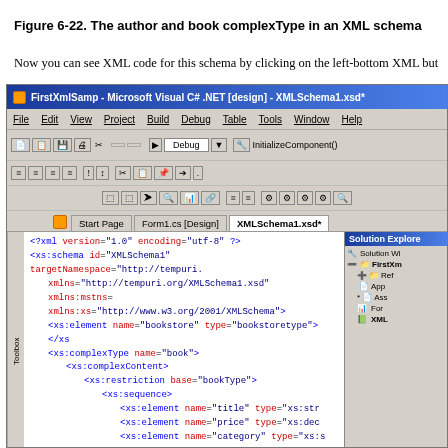Figure 6-22. The author and book complexType in an XML schema
Now you can see XML code for this schema by clicking on the left-bottom XML but
[Figure (screenshot): Screenshot of Microsoft Visual C# .NET design environment showing XMLSchema1.xsd* file open with XML schema code visible including xs:schema, xs:element, xs:complexType, xs:complexContent, xs:restriction, xs:sequence, and xs:element tags. Solution Explorer panel visible on the right.]